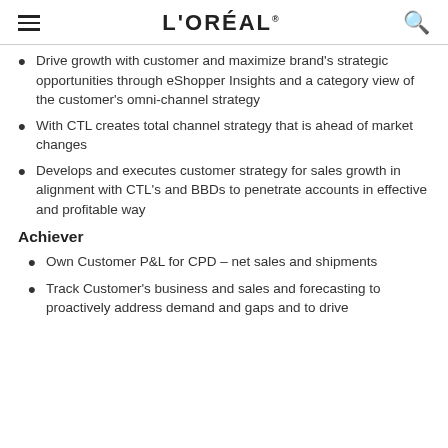L'ORÉAL
Drive growth with customer and maximize brand's strategic opportunities through eShopper Insights and a category view of the customer's omni-channel strategy
With CTL creates total channel strategy that is ahead of market changes
Develops and executes customer strategy for sales growth in alignment with CTL's and BBDs to penetrate accounts in effective and profitable way
Achiever
Own Customer P&L for CPD – net sales and shipments
Track Customer's business and sales and forecasting to proactively address demand and gaps and to drive